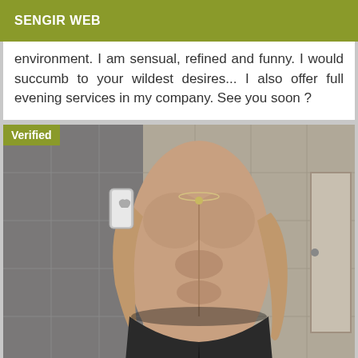SENGIR WEB
environment. I am sensual, refined and funny. I would succumb to your wildest desires... I also offer full evening services in my company. See you soon ?
[Figure (photo): Mirror selfie photo of a muscular shirtless man in a bathroom, wearing dark shorts, with a 'Verified' badge overlay in the top-left corner.]